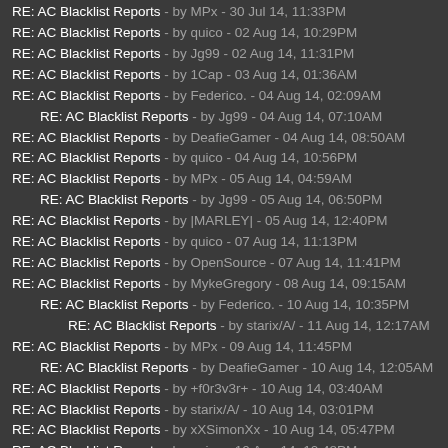RE: AC Blacklist Reports - by MPx - 30 Jul 14, 11:33PM
RE: AC Blacklist Reports - by quico - 02 Aug 14, 10:29PM
RE: AC Blacklist Reports - by Jg99 - 02 Aug 14, 11:31PM
RE: AC Blacklist Reports - by 1Cap - 03 Aug 14, 01:36AM
RE: AC Blacklist Reports - by Federico. - 04 Aug 14, 02:09AM
RE: AC Blacklist Reports - by Jg99 - 04 Aug 14, 07:10AM
RE: AC Blacklist Reports - by DeafieGamer - 04 Aug 14, 08:50AM
RE: AC Blacklist Reports - by quico - 04 Aug 14, 10:56PM
RE: AC Blacklist Reports - by MPx - 05 Aug 14, 04:59AM
RE: AC Blacklist Reports - by Jg99 - 05 Aug 14, 06:50PM
RE: AC Blacklist Reports - by |MARLEY| - 05 Aug 14, 12:40PM
RE: AC Blacklist Reports - by quico - 07 Aug 14, 11:13PM
RE: AC Blacklist Reports - by OpenSource - 07 Aug 14, 11:41PM
RE: AC Blacklist Reports - by MykeGregory - 08 Aug 14, 09:15AM
RE: AC Blacklist Reports - by Federico. - 10 Aug 14, 10:35PM
RE: AC Blacklist Reports - by starix/A/ - 11 Aug 14, 12:17AM
RE: AC Blacklist Reports - by MPx - 09 Aug 14, 11:45PM
RE: AC Blacklist Reports - by DeafieGamer - 10 Aug 14, 12:05AM
RE: AC Blacklist Reports - by +f0r3v3r+ - 10 Aug 14, 03:40AM
RE: AC Blacklist Reports - by starix/A/ - 10 Aug 14, 03:01PM
RE: AC Blacklist Reports - by xXSimonXx - 10 Aug 14, 05:47PM
RE: AC Blacklist Reports - by quico - 10 Aug 14, 10:48PM
RE: AC Blacklist Reports - by xXSimonXx - 11 Aug 14, 01:02PM
RE: AC Blacklist Reports - by Mousikos - 11 Aug 14, 08:33PM